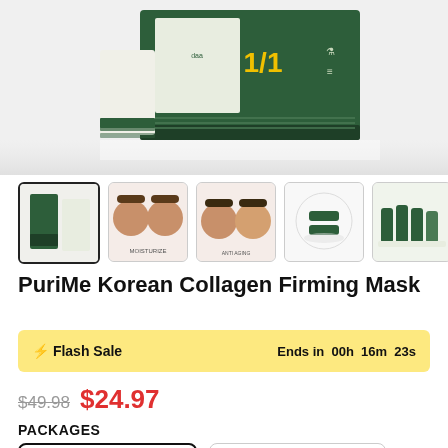[Figure (photo): Product hero image of PuriMe Korean Collagen Firming Mask box set on white/light background with '1/1' text overlay in yellow]
[Figure (photo): Five product thumbnail images: product box, before/after moisturize comparison, before/after anti-aging comparison, product sticks on plate, product ampoules lineup]
PuriMe Korean Collagen Firming Mask
⚡ Flash Sale   Ends in 00h 16m 23s
$49.98  $24.97
PACKAGES
(package options shown below)